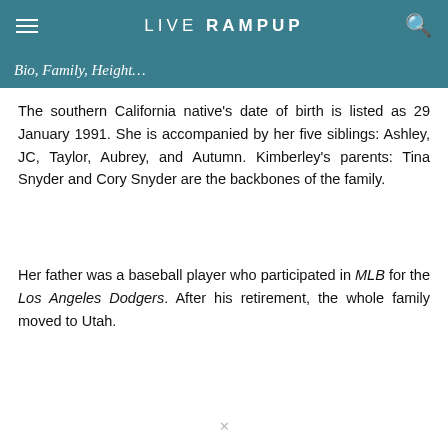LIVE RAMP UP
Bio, Family, Height…
The southern California native's date of birth is listed as 29 January 1991. She is accompanied by her five siblings: Ashley, JC, Taylor, Aubrey, and Autumn. Kimberley's parents: Tina Snyder and Cory Snyder are the backbones of the family.
Her father was a baseball player who participated in MLB for the Los Angeles Dodgers. After his retirement, the whole family moved to Utah.